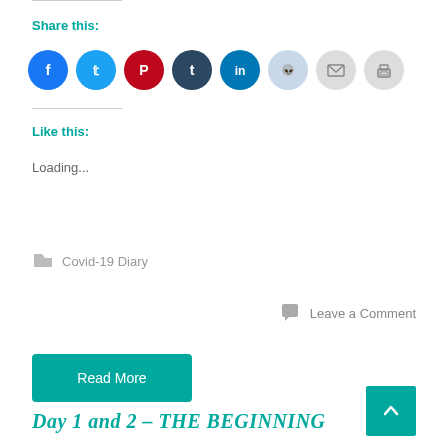Share this:
[Figure (infographic): Row of social media sharing icon buttons: Facebook (blue), Twitter (light blue), Pinterest (red), Tumblr (dark navy), LinkedIn (teal), Reddit (light blue/gray), Email (gray), Print (gray)]
Like this:
Loading...
Covid-19 Diary
Leave a Comment
Read More
Day 1 and 2 – THE BEGINNING